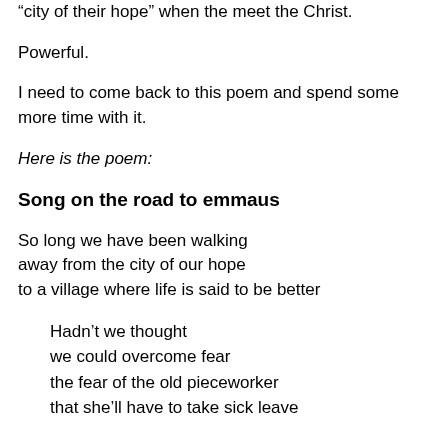“city of their hope” when the meet the Christ.
Powerful.
I need to come back to this poem and spend some more time with it.
Here is the poem:
Song on the road to emmaus
So long we have been walking
away from the city of our hope
to a village where life is said to be better
Hadn’t we thought
we could overcome fear
the fear of the old pieceworker
that she’ll have to take sick leave